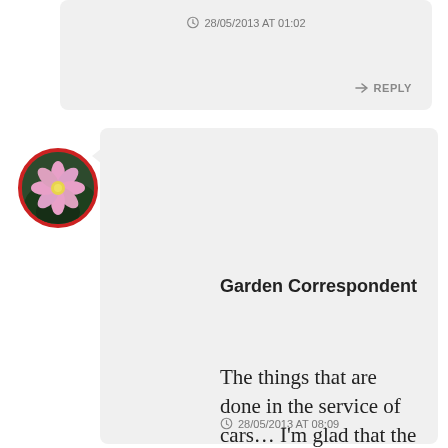28/05/2013 AT 01:02
REPLY
[Figure (photo): Round avatar with red border showing a pink flower with yellow center on dark green background]
Garden Correspondent
The things that are done in the service of cars... I'm glad that the acanthus ended up with you, and how neat that it will follow you to your new digs.
28/05/2013 AT 08:09